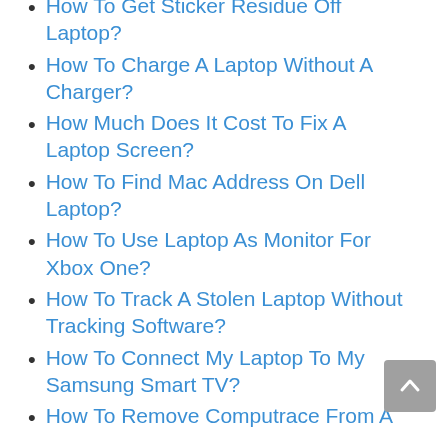How To Get Sticker Residue Off Laptop?
How To Charge A Laptop Without A Charger?
How Much Does It Cost To Fix A Laptop Screen?
How To Find Mac Address On Dell Laptop?
How To Use Laptop As Monitor For Xbox One?
How To Track A Stolen Laptop Without Tracking Software?
How To Connect My Laptop To My Samsung Smart TV?
How To Remove Computrace From A